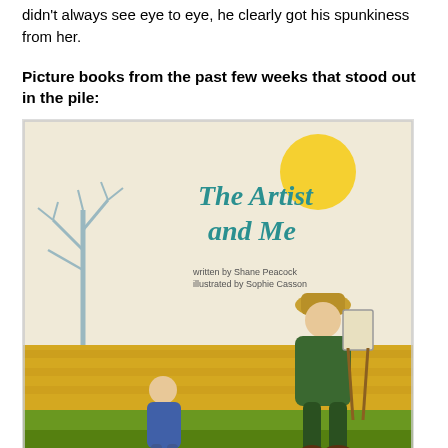didn't always see eye to eye, he clearly got his spunkiness from her.
Picture books from the past few weeks that stood out in the pile:
[Figure (illustration): Book cover of 'The Artist and Me' showing a child and an adult figure (artist) walking on a path through golden fields with a bare tree, yellow sun in background. Text reads: 'The Artist and Me', written by Shane Peacock, illustrated by Sophie Casson.]
The Artist and Me by Shane Peacock, illustrated by Sophie Casson
This book affected me deeply. Vincent Van Gogh, one of the greatest artists of all time, was judged and bullied mercilessly, even by young children who looked down on his art as crazy and garish. This is a fictionalized account of a